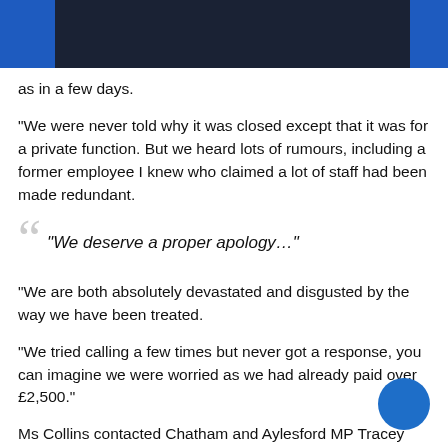as in a few days.
“We were never told why it was closed except that it was for a private function. But we heard lots of rumours, including a former employee I knew who claimed a lot of staff had been made redundant.
“We deserve a proper apology…”
“We are both absolutely devastated and disgusted by the way we have been treated.
“We tried calling a few times but never got a response, you can imagine we were worried as we had already paid over £2,500.”
Ms Collins contacted Chatham and Aylesford MP Tracey Crouch, who had previously advised plans for the